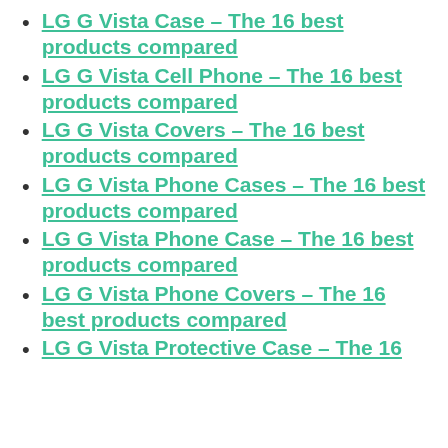LG G Vista Case – The 16 best products compared
LG G Vista Cell Phone – The 16 best products compared
LG G Vista Covers – The 16 best products compared
LG G Vista Phone Cases – The 16 best products compared
LG G Vista Phone Case – The 16 best products compared
LG G Vista Phone Covers – The 16 best products compared
LG G Vista Protective Case – The 16